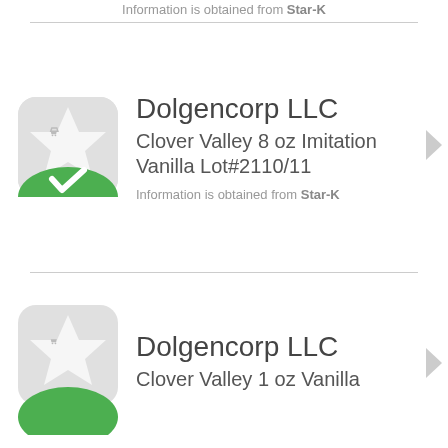Information is obtained from Star-K
[Figure (logo): Star-K kosher certification logo icon with white star and checkmark on green background]
Dolgencorp LLC
Clover Valley 8 oz Imitation Vanilla Lot#2110/11
Information is obtained from Star-K
[Figure (logo): Star-K kosher certification logo icon with white star on gray background, partially visible]
Dolgencorp LLC
Clover Valley 1 oz Vanilla